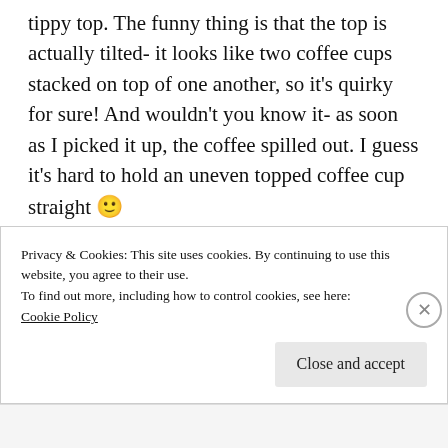tippy top. The funny thing is that the top is actually tilted- it looks like two coffee cups stacked on top of one another, so it's quirky for sure! And wouldn't you know it- as soon as I picked it up, the coffee spilled out. I guess it's hard to hold an uneven topped coffee cup straight 🙂
I am so thankful for the amazing week with my family- and their special friend who is very much like a part of our family. There
Privacy & Cookies: This site uses cookies. By continuing to use this website, you agree to their use.
To find out more, including how to control cookies, see here: Cookie Policy
Close and accept